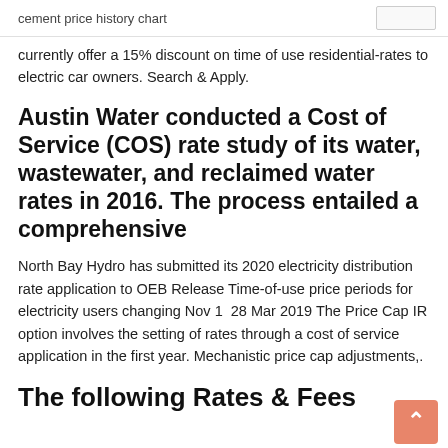cement price history chart
currently offer a 15% discount on time of use residential-rates to electric car owners. Search & Apply.
Austin Water conducted a Cost of Service (COS) rate study of its water, wastewater, and reclaimed water rates in 2016. The process entailed a comprehensive
North Bay Hydro has submitted its 2020 electricity distribution rate application to OEB Release Time-of-use price periods for electricity users changing Nov 1  28 Mar 2019 The Price Cap IR option involves the setting of rates through a cost of service application in the first year. Mechanistic price cap adjustments,.
The following Rates & Fees